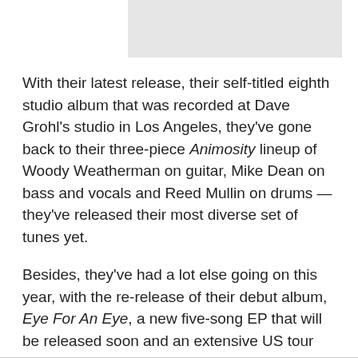[Figure (other): Gray rectangular image placeholder at top of page]
With their latest release, their self-titled eighth studio album that was recorded at Dave Grohl's studio in Los Angeles, they've gone back to their three-piece Animosity lineup of Woody Weatherman on guitar, Mike Dean on bass and vocals and Reed Mullin on drums — they've released their most diverse set of tunes yet.
Besides, they've had a lot else going on this year, with the re-release of their debut album, Eye For An Eye, a new five-song EP that will be released soon and an extensive US tour that starts next month.